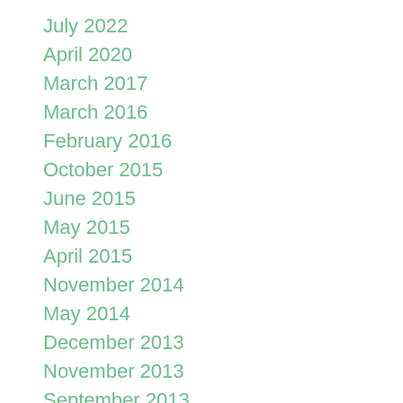July 2022
April 2020
March 2017
March 2016
February 2016
October 2015
June 2015
May 2015
April 2015
November 2014
May 2014
December 2013
November 2013
September 2013
July 2013
May 2013